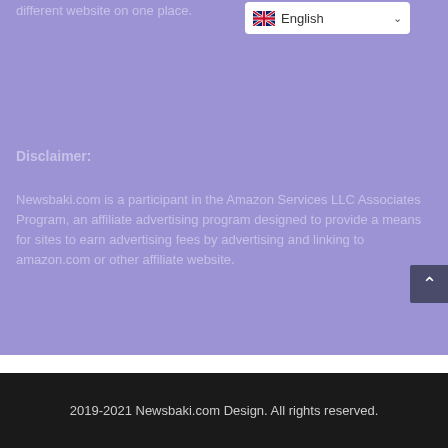different website on one place.
[Figure (screenshot): Language selector dropdown showing UK flag and 'English' with chevron]
Disclaimer:
Newsbaki.com is a participant in the Amazon Services LLC Associates Program, an affiliate advertising program designed to provide a means for sites to earn advertising fees by advertising and linking to amazon.com or other affiliate website.
2019-2021 Newsbaki.com Design. All rights reserved.